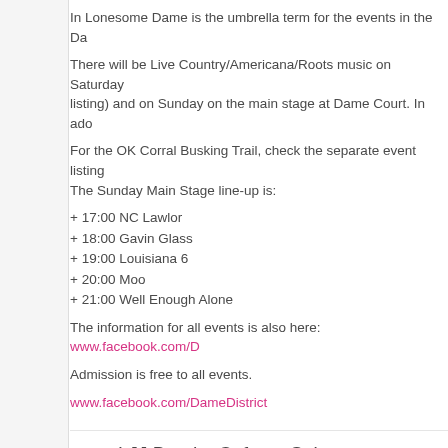In Lonesome Dame is the umbrella term for the events in the Da
There will be Live Country/Americana/Roots music on Saturday (listing) and on Sunday on the main stage at Dame Court. In ado
For the OK Corral Busking Trail, check the separate event listing
The Sunday Main Stage line-up is:
+ 17:00 NC Lawlor
+ 18:00 Gavin Glass
+ 19:00 Louisiana 6
+ 20:00 Moo
+ 21:00 Well Enough Alone
The information for all events is also here: www.facebook.com/D
Admission is free to all events.
www.facebook.com/DameDistrict
LJJ Band – Cafe en Seine
Weekly event 18:00 – 20:00, Sun 27 Jul
Café en Seine, Dawson Street, Dublin 2
The wedding and party band The LJJ Band play every Sunday e
www.longjohnjumpband.com/